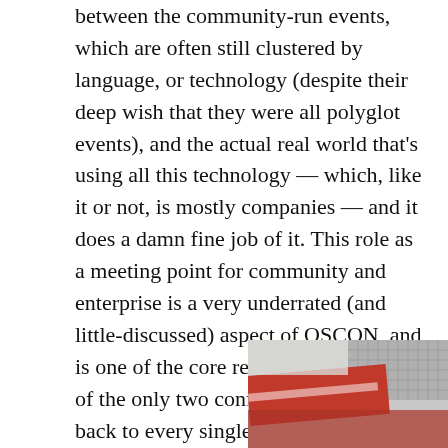between the community-run events, which are often still clustered by language, or technology (despite their deep wish that they were all polyglot events), and the actual real world that's using all this technology –– which, like it or not, is mostly companies –– and it does a damn fine job of it. This role as a meeting point for community and enterprise is a very underrated (and little-discussed) aspect of OSCON, and is one of the core reasons why it's one of the only two conferences that I go back to every single year.
I have very little to do with anything beyond building games, and designing mobile apps (i.e. I'm not in dev-ops, I don't do any important software
[Figure (photo): Partial photo showing what appears to be a red sign or banner with a grid/mesh pattern, taken at an angle indoors.]